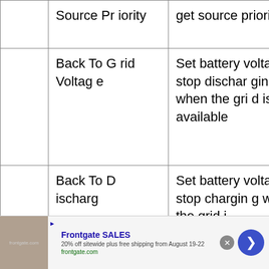|  | Source Priority | get source priority |
| --- | --- | --- |
|  | Back To Grid Voltage | Set battery voltage to stop discharging when the grid is available |
|  | Back To Discharg | Set battery voltage to stop charging when the grid i |